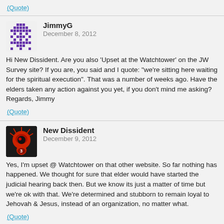(Quote)
JimmyG
December 8, 2012
Hi New Dissident. Are you also 'Upset at the Watchtower' on the JW Survey site? If you are, you said and I quote: "we're sitting here waiting for the spiritual execution". That was a number of weeks ago. Have the elders taken any action against you yet, if you don't mind me asking? Regards, Jimmy
(Quote)
New Dissident
December 9, 2012
Yes, I'm upset @ Watchtower on that other website. So far nothing has happened. We thought for sure that elder would have started the judicial hearing back then. But we know its just a matter of time but we're ok with that. We're determined and stubborn to remain loyal to Jehovah & Jesus, instead of an organization, no matter what.
(Quote)